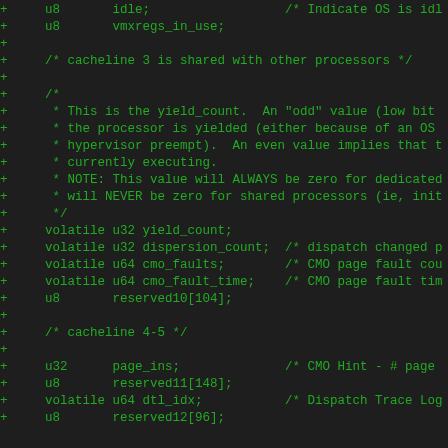Code snippet showing C struct fields with diff markers (+), including idle, vmxregs_in_use, cacheline comments, yield_count, dispersion_count, cmo_faults, cmo_fault_time, reserved fields, cacheline 4-5 section, page_ins, reserved11, dtl_idx, reserved12.